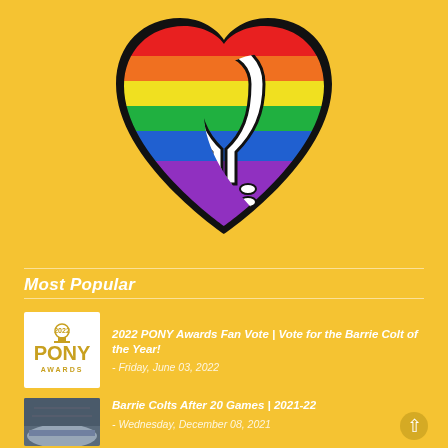[Figure (logo): Heart-shaped logo with rainbow stripes (red, orange, yellow, green, blue, purple) and a horseshoe graphic in black and white, on a yellow/golden background]
Most Popular
[Figure (logo): 2022 PONY Awards badge - gold/yellow text on white background]
2022 PONY Awards Fan Vote | Vote for the Barrie Colt of the Year!
- Friday, June 03, 2022
[Figure (photo): Thumbnail photo of what appears to be an ice hockey arena interior]
Barrie Colts After 20 Games | 2021-22
- Wednesday, December 08, 2021